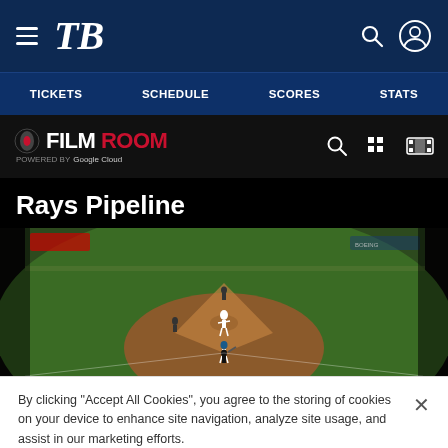Tampa Bay Rays navigation: TICKETS, SCHEDULE, SCORES, STATS
[Figure (logo): MLB Film Room logo powered by Google Cloud]
Rays Pipeline
[Figure (screenshot): Baseball game footage showing a pitcher on the mound and batter at home plate from an elevated center field camera view]
By clicking "Accept All Cookies", you agree to the storing of cookies on your device to enhance site navigation, analyze site usage, and assist in our marketing efforts.